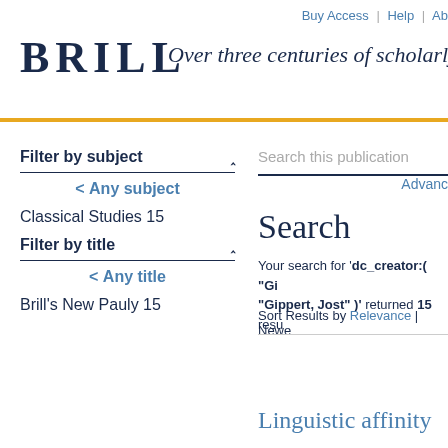Buy Access | Help | Ab
BRILL Over three centuries of scholarly
Filter by subject ^
< Any subject
Classical Studies 15
Filter by title ^
< Any title
Brill's New Pauly 15
Search this publication
Advanc
Search
Your search for 'dc_creator:( "Gi  "Gippert, Jost" )' returned 15 resu
Sort Results by Relevance | Newe
Linguistic affinity